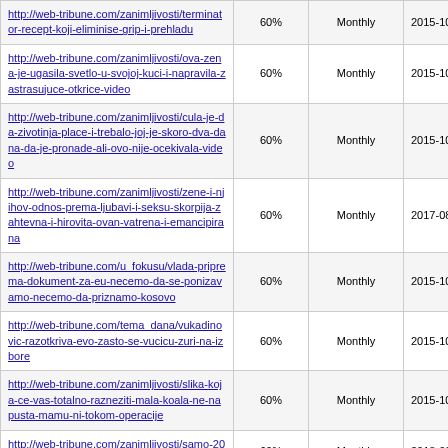| http://web-tribune.com/zanimljivosti/terminator-recept-koji-eliminise-grip-i-prehladu | 60% | Monthly | 2015-10-19 15:54 |
| http://web-tribune.com/zanimljivosti/ova-zena-je-ugasila-svetlo-u-svojoj-kuci-i-napravila-zastrasujuce-otkrice-video | 60% | Monthly | 2015-10-19 15:45 |
| http://web-tribune.com/zanimljivosti/cula-je-da-zivotinja-place-i-trebalo-joj-je-skoro-dva-dana-da-je-pronade-ali-ovo-nije-ocekivala-video | 60% | Monthly | 2015-10-19 15:32 |
| http://web-tribune.com/zanimljivosti/zene-i-njihov-odnos-prema-ljubavi-i-seksu-skorpija-zahtevna-i-hirovita-ovan-vatrena-i-emancipirana | 60% | Monthly | 2017-08-16 20:11 |
| http://web-tribune.com/u_fokusu/vlada-priprema-dokument-za-eu-necemo-da-se-ponizavamo-necemo-da-priznamo-kosovo | 60% | Monthly | 2015-10-19 07:07 |
| http://web-tribune.com/tema_dana/vukadinovic-razotkriva-evo-zasto-se-vucicu-zuri-na-izbore | 60% | Monthly | 2015-10-19 06:38 |
| http://web-tribune.com/zanimljivosti/slika-koja-ce-vas-totalno-razneziti-mala-koala-ne-napusta-mamu-ni-tokom-operacije | 60% | Monthly | 2015-10-18 15:46 |
| http://web-tribune.com/zanimljivosti/samo-20-posto-ljudi-resi-ga-tacno-resite-ovaj- | 60% | Monthly | 2018-02-16 12:59 |